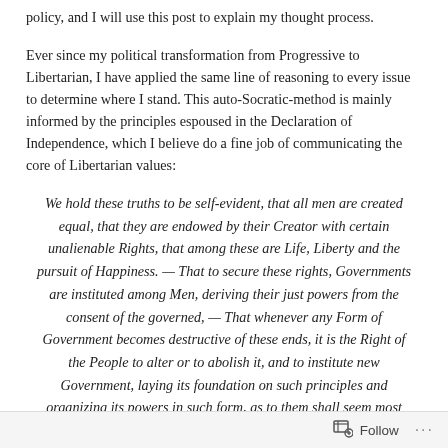policy, and I will use this post to explain my thought process.
Ever since my political transformation from Progressive to Libertarian, I have applied the same line of reasoning to every issue to determine where I stand. This auto-Socratic-method is mainly informed by the principles espoused in the Declaration of Independence, which I believe do a fine job of communicating the core of Libertarian values:
We hold these truths to be self-evident, that all men are created equal, that they are endowed by their Creator with certain unalienable Rights, that among these are Life, Liberty and the pursuit of Happiness. — That to secure these rights, Governments are instituted among Men, deriving their just powers from the consent of the governed, — That whenever any Form of Government becomes destructive of these ends, it is the Right of the People to alter or to abolish it, and to institute new Government, laying its foundation on such principles and organizing its powers in such form, as to them shall seem most likely to effect their Safety and Happiness
Follow ···